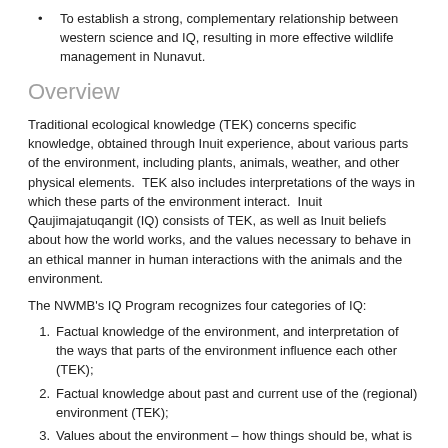To establish a strong, complementary relationship between western science and IQ, resulting in more effective wildlife management in Nunavut.
Overview
Traditional ecological knowledge (TEK) concerns specific knowledge, obtained through Inuit experience, about various parts of the environment, including plants, animals, weather, and other physical elements.  TEK also includes interpretations of the ways in which these parts of the environment interact.  Inuit Qaujimajatuqangit (IQ) consists of TEK, as well as Inuit beliefs about how the world works, and the values necessary to behave in an ethical manner in human interactions with the animals and the environment.
The NWMB's IQ Program recognizes four categories of IQ:
Factual knowledge of the environment, and interpretation of the ways that parts of the environment influence each other (TEK);
Factual knowledge about past and current use of the (regional) environment (TEK);
Values about the environment – how things should be, what is proper to do, how to behave towards animals and the environment (IQ values); and
The culturally-based foundation for the entire Inuit belief and knowledge base — the framework that provides an orientation or...